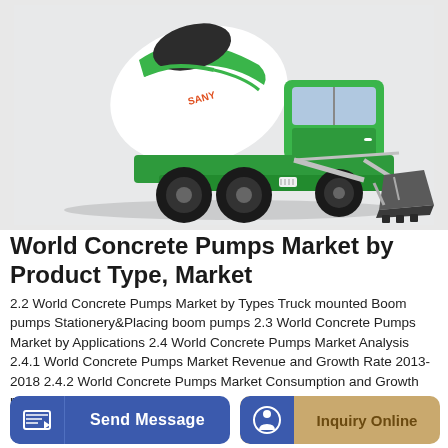[Figure (photo): A green and white self-loading concrete mixer truck with front-mounted loading bucket, photographed against a light grey background.]
World Concrete Pumps Market by Product Type, Market
2.2 World Concrete Pumps Market by Types Truck mounted Boom pumps Stationery&Placing boom pumps 2.3 World Concrete Pumps Market by Applications 2.4 World Concrete Pumps Market Analysis 2.4.1 World Concrete Pumps Market Revenue and Growth Rate 2013-2018 2.4.2 World Concrete Pumps Market Consumption and Growth rate 2013-2018
Send Message
Inquiry Online